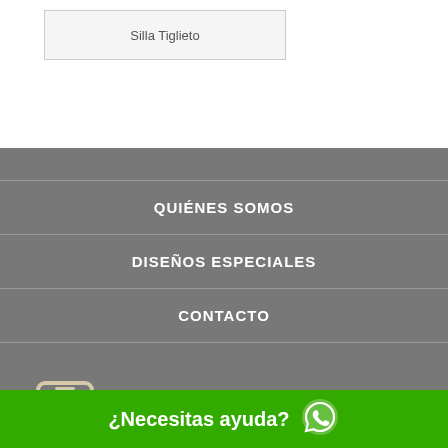[Figure (logo): Logo placeholder showing 'Silla Tiglieto' text in a bordered box]
QUIÉNES SOMOS
DISEÑOS ESPECIALES
CONTACTO
[Figure (illustration): Phone/contact icon in beige/cream color showing a smartphone with a person silhouette]
VENTAS - AGENDAR VISITAS
(+56) 9 8428 8227
¿Necesitas ayuda?